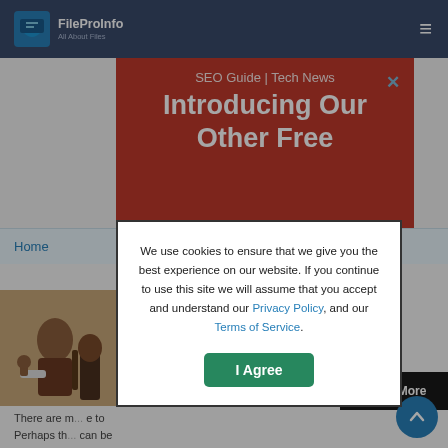[Figure (logo): FileProInfo logo with tagline 'All About Files' on dark blue header bar with hamburger menu icon]
[Figure (infographic): Red promotional banner reading 'SEO Guide | Tech News' and 'Introducing Our Other Free' with close (X) button]
Home
[Figure (photo): Thumbnail illustration of people with protest sign]
There are ... Perhaps th...
Learn More
[Figure (other): Cookie consent modal: 'We use cookies to ensure that we give you the best experience on our website. If you continue to use this site we will assume that you accept and understand our Privacy Policy, and our Terms of Service.' with 'I Agree' button]